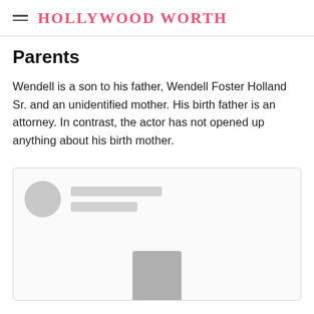HOLLYWOOD WORTH
Parents
Wendell is a son to his father, Wendell Foster Holland Sr. and an unidentified mother. His birth father is an attorney. In contrast, the actor has not opened up anything about his birth mother.
[Figure (other): Social media embed placeholder card with a circular avatar, two grey placeholder lines for name/handle, and a partial image silhouette at the bottom center.]